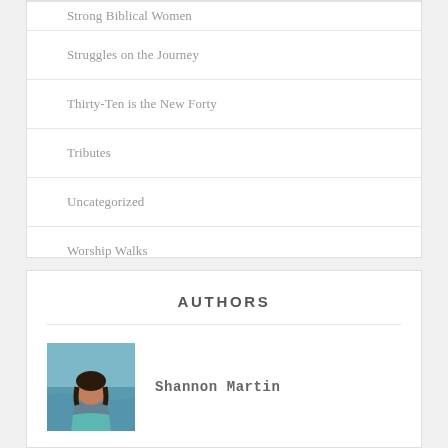Struggles on the Journey
Thirty-Ten is the New Forty
Tributes
Uncategorized
Worship Walks
AUTHORS
[Figure (photo): Portrait photo of Shannon Martin, a woman with dark hair, at a beach or waterfront]
Shannon Martin